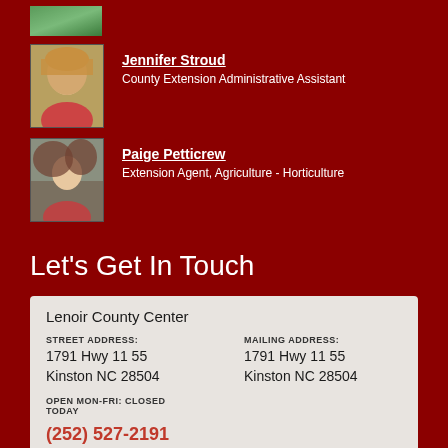[Figure (photo): Partial photo of a person wearing green, cropped at top]
Jennifer Stroud
County Extension Administrative Assistant
[Figure (photo): Photo of Jennifer Stroud, a woman with curly blonde hair and glasses wearing a red shirt]
Paige Petticrew
Extension Agent, Agriculture - Horticulture
[Figure (photo): Photo of Paige Petticrew, a young woman with long brown hair wearing a red top]
Let's Get In Touch
Lenoir County Center
STREET ADDRESS:
1791 Hwy 11 55
Kinston NC 28504
MAILING ADDRESS:
1791 Hwy 11 55
Kinston NC 28504
OPEN MON-FRI: CLOSED TODAY
(252) 527-2191